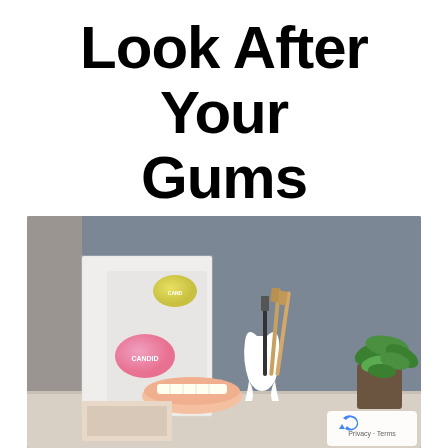Look After Your Gums
Jan 28, 2020
[Figure (photo): Dental care product photo showing Candid aligner boxes, a tooth-shaped pen holder with bamboo toothbrushes, a dental model (dentures), and a green plant, arranged on a table against a grey wall.]